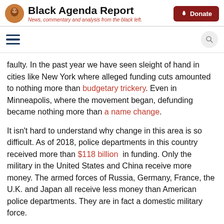Black Agenda Report — News, commentary and analysis from the black left.
faulty. In the past year we have seen sleight of hand in cities like New York where alleged funding cuts amounted to nothing more than budgetary trickery. Even in Minneapolis, where the movement began, defunding became nothing more than a name change.
It isn't hard to understand why change in this area is so difficult. As of 2018, police departments in this country received more than $118 billion in funding. Only the military in the United States and China receive more money. The armed forces of Russia, Germany, France, the U.K. and Japan all receive less money than American police departments. They are in fact a domestic military force.
“Defunding can become nothing more than a name change.”